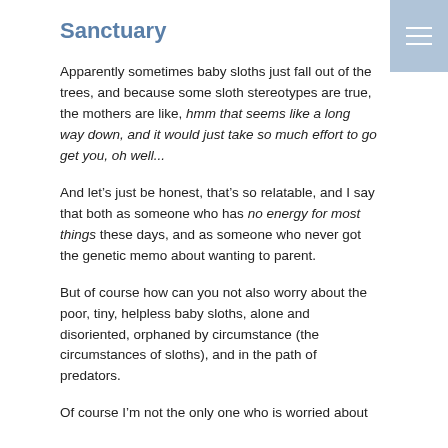Sanctuary
Apparently sometimes baby sloths just fall out of the trees, and because some sloth stereotypes are true, the mothers are like, hmm that seems like a long way down, and it would just take so much effort to go get you, oh well...
And let’s just be honest, that’s so relatable, and I say that both as someone who has no energy for most things these days, and as someone who never got the genetic memo about wanting to parent.
But of course how can you not also worry about the poor, tiny, helpless baby sloths, alone and disoriented, orphaned by circumstance (the circumstances of sloths), and in the path of predators.
Of course I’m not the only one who is worried about